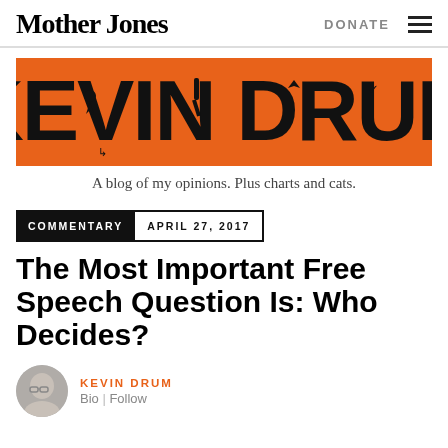Mother Jones   DONATE
[Figure (logo): Kevin Drum blog banner — large stylized text 'KEVIN DRUM' in black on orange background with decorative icons embedded in letters]
A blog of my opinions. Plus charts and cats.
COMMENTARY   APRIL 27, 2017
The Most Important Free Speech Question Is: Who Decides?
KEVIN DRUM
Bio | Follow